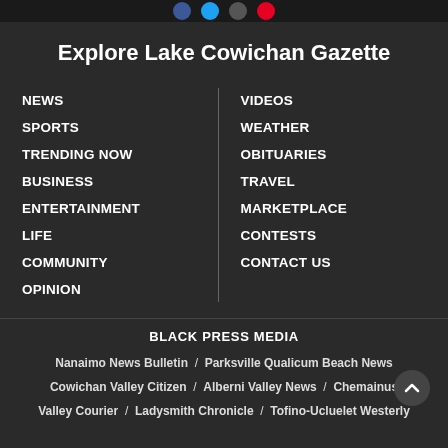Social media icons (Facebook, Twitter, YouTube, Pinterest)
Explore Lake Cowichan Gazette
NEWS
SPORTS
TRENDING NOW
BUSINESS
ENTERTAINMENT
LIFE
COMMUNITY
OPINION
VIDEOS
WEATHER
OBITUARIES
TRAVEL
MARKETPLACE
CONTESTS
CONTACT US
BLACK PRESS MEDIA
Nanaimo News Bulletin / Parksville Qualicum Beach News / Cowichan Valley Citizen / Alberni Valley News / Chemainus Valley Courier / Ladysmith Chronicle / Tofino-Ucluelet Westerly